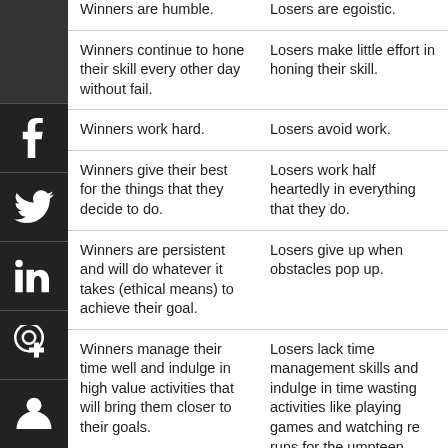| Winners | Losers |
| --- | --- |
| Winners are humble. | Losers are egoistic. |
| Winners continue to hone their skill every other day without fail. | Losers make little effort in honing their skill. |
| Winners work hard. | Losers avoid work. |
| Winners give their best for the things that they decide to do. | Losers work half heartedly in everything that they do. |
| Winners are persistent and will do whatever it takes (ethical means) to achieve their goal. | Losers give up when obstacles pop up. |
| Winners manage their time well and indulge in high value activities that will bring them closer to their goals. | Losers lack time management skills and indulge in time wasting activities like playing games and watching re runs for the umpteen |